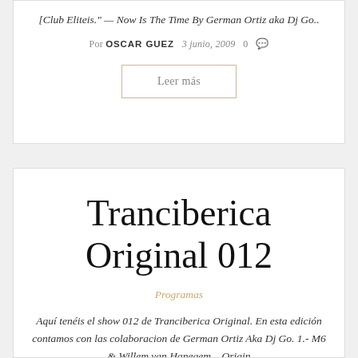[Club Eliteis." — Now Is The Time By German Ortiz aka Dj Go..
Por OSCAR GUEZ  3 junio, 2009  0
Leer más
Tranciberica Original 012
Programas
Aquí tenéis el show 012 de Tranciberica Original. En esta edición contamos con las colaboracion de German Ortiz Aka Dj Go. 1.- M6 & Willem van Hanegem – Origin